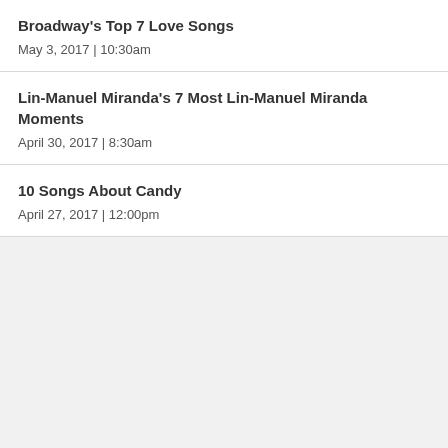Broadway's Top 7 Love Songs
May 3, 2017  |  10:30am
Lin-Manuel Miranda's 7 Most Lin-Manuel Miranda Moments
April 30, 2017  |  8:30am
10 Songs About Candy
April 27, 2017  |  12:00pm